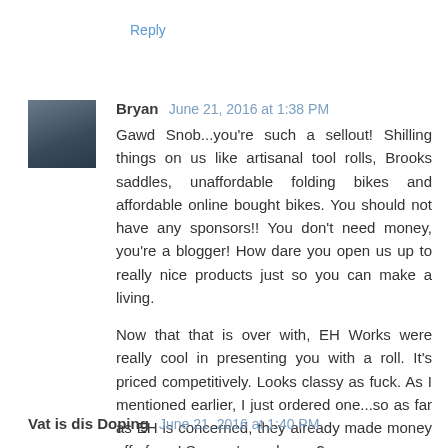Reply
Bryan June 21, 2016 at 1:38 PM
Gawd Snob...you're such a sellout! Shilling things on us like artisanal tool rolls, Brooks saddles, unaffordable folding bikes and affordable online bought bikes. You should not have any sponsors!! You don't need money, you're a blogger! How dare you open us up to really nice products just so you can make a living.

Now that that is over with, EH Works were really cool in presenting you with a roll. It's priced competitively. Looks classy as fuck. As I mentioned earlier, I just ordered one...so as far as EH is concerned, they already made money off of you! So, you're welcome?
Reply
Vat is dis Doping June 21, 2016 at 1:40 PM